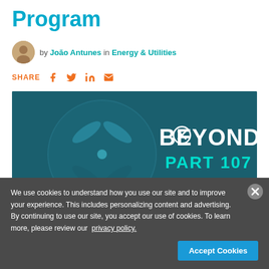Program
by João Antunes in Energy & Utilities
SHARE
[Figure (illustration): Hero image with dark teal background showing a drone/propeller graphic with text 'BEYOND PART 107' and Chevron logo badge]
We use cookies to understand how you use our site and to improve your experience. This includes personalizing content and advertising. By continuing to use our site, you accept our use of cookies. To learn more, please review our privacy policy.
Accept Cookies